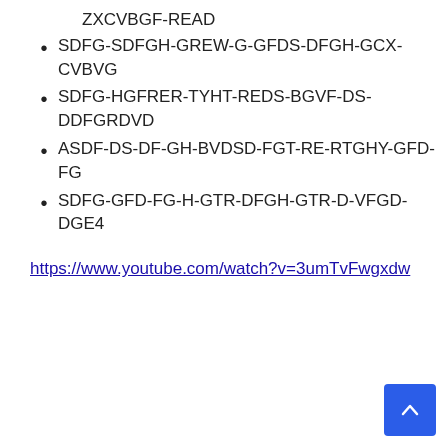ZXCVBGF-READ
SDFG-SDFGH-GREW-G-GFDS-DFGH-GCX-CVBVG
SDFG-HGFRER-TYHT-REDS-BGVF-DS-DDFGRDVD
ASDF-DS-DF-GH-BVDSD-FGT-RE-RTGHY-GFD-FG
SDFG-GFD-FG-H-GTR-DFGH-GTR-D-VFGD-DGE4
https://www.youtube.com/watch?v=3umTvFwgxdw